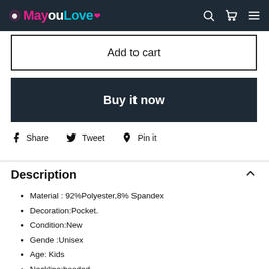MayouLove
Add to cart
Buy it now
Share  Tweet  Pin it
Description
Material : 92%Polyester,8% Spandex
Decoration:Pocket.
Condition:New
Gende :Unisex
Age:  Kids
Neckline:hooded
Sleeve Length:Long Sleeve
Size type:Regular Fit